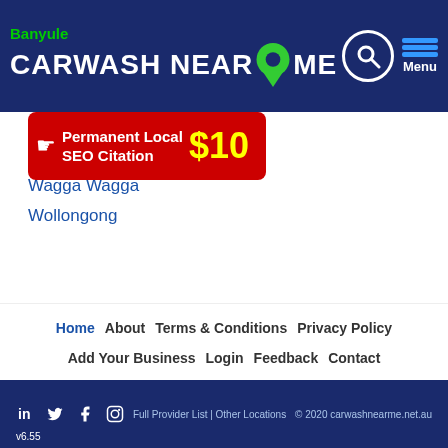Banyule CARWASH NEAR ME
[Figure (screenshot): Ad banner: Permanent Local SEO Citation $10]
Townsville
Wagga Wagga
Wollongong
Home | About | Terms & Conditions | Privacy Policy | Add Your Business | Login | Feedback | Contact | Full Provider List | Other Locations | © 2020 carwashnearme.net.au | v6.55